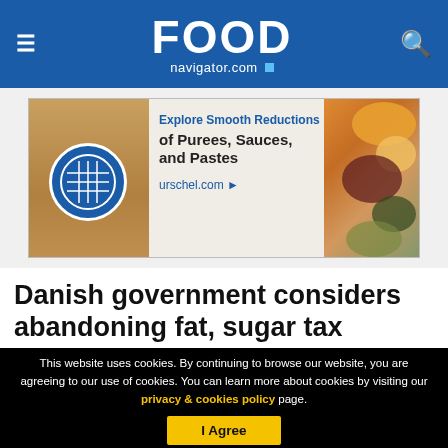FOOD navigator.com
[Figure (other): Advertisement banner for urschel.com: Explore Smooth Reductions of Purees, Sauces, and Pastes. urschel.com ▶]
Danish government considers abandoning fat, sugar tax
This website uses cookies. By continuing to browse our website, you are agreeing to our use of cookies. You can learn more about cookies by visiting our privacy & cookies policy page.
I Agree